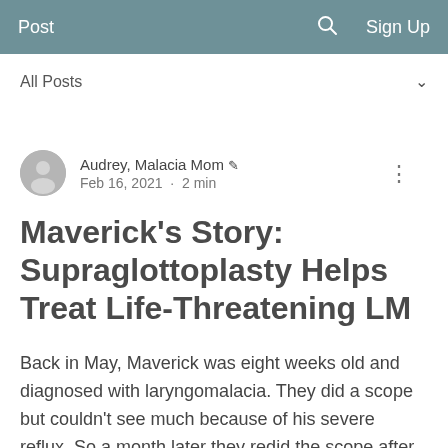Post   Sign Up
All Posts
Audrey, Malacia Mom  Feb 16, 2021 · 2 min
Maverick's Story: Supraglottoplasty Helps Treat Life-Threatening LM
Back in May, Maverick was eight weeks old and diagnosed with laryngomalacia. They did a scope but couldn't see much because of his severe reflux. So a month later they redid the scope after his medications